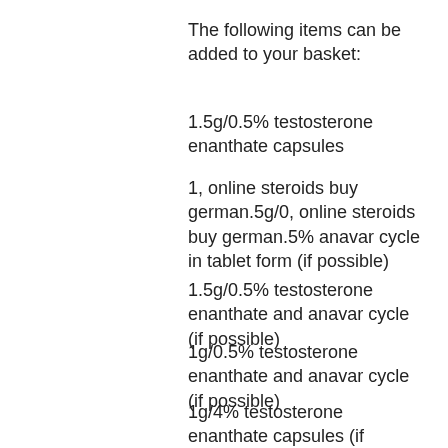The following items can be added to your basket:
1.5g/0.5% testosterone enanthate capsules
1, online steroids buy german.5g/0, online steroids buy german.5% anavar cycle in tablet form (if possible)
1.5g/0.5% testosterone enanthate and anavar cycle (if possible)
1g/0.5% testosterone enanthate and anavar cycle (if possible)
1g/4% testosterone enanthate capsules (if possible)
1.5g/4% anavar cycle (0.3%)
1g/4% testosterone enanthate and anavar